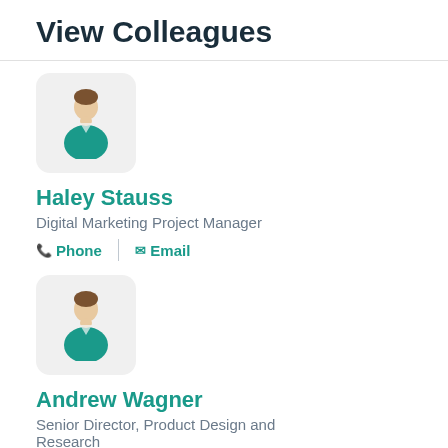View Colleagues
[Figure (illustration): Generic user avatar icon: person silhouette with brown hair, teal shirt, on light grey rounded rectangle background]
Haley Stauss
Digital Marketing Project Manager
Phone  |  Email
[Figure (illustration): Generic user avatar icon: person silhouette with brown hair, teal shirt, on light grey rounded rectangle background]
Andrew Wagner
Senior Director, Product Design and Research